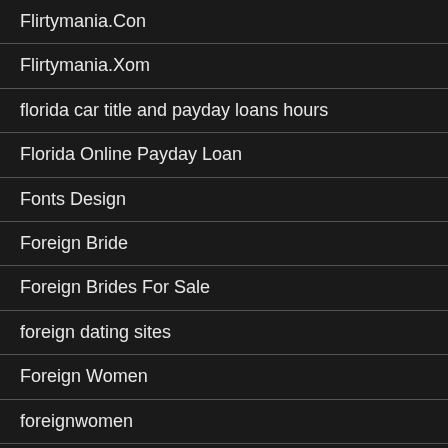Flirtymania.Con
Flirtymania.Xom
florida car title and payday loans hours
Florida Online Payday Loan
Fonts Design
Foreign Bride
Foreign Brides For Sale
foreign dating sites
Foreign Women
foreignwomen
Forex
forex broker
Forex Handel